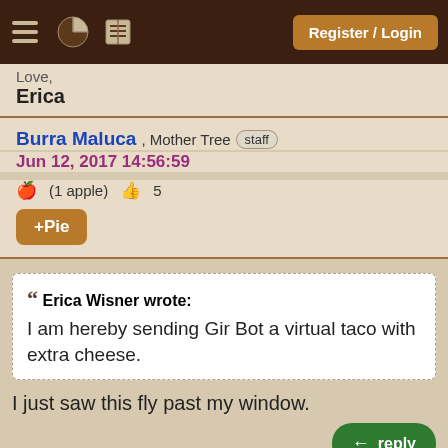Register / Login
Love,
Erica
Burra Maluca , Mother Tree staff
Jun 12, 2017 14:56:59
(1 apple)  5
+Pie
Erica Wisner wrote:
I am hereby sending Gir Bot a virtual taco with extra cheese.
I just saw this fly past my window.
[Figure (screenshot): Partial image with blue/purple background and white cartoon character shapes, bottom of page]